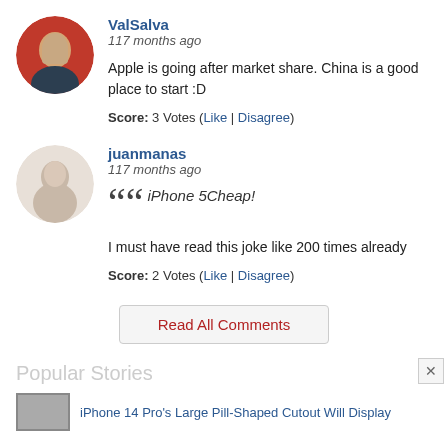ValSalva
117 months ago
Apple is going after market share. China is a good place to start :D
Score: 3 Votes (Like | Disagree)
juanmanas
117 months ago
“iPhone 5Cheap!
I must have read this joke like 200 times already
Score: 2 Votes (Like | Disagree)
Read All Comments
Popular Stories
iPhone 14 Pro’s Large Pill-Shaped Cutout Will Display